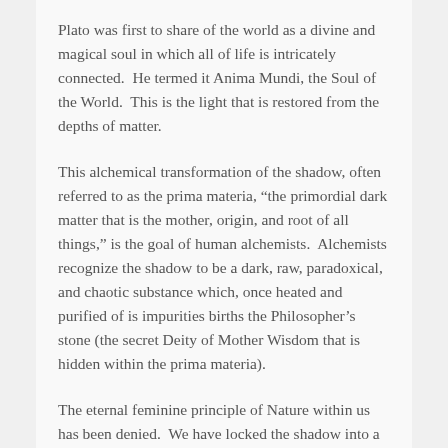Plato was first to share of the world as a divine and magical soul in which all of life is intricately connected.  He termed it Anima Mundi, the Soul of the World.  This is the light that is restored from the depths of matter.
This alchemical transformation of the shadow, often referred to as the prima materia, “the primordial dark matter that is the mother, origin, and root of all things,” is the goal of human alchemists.  Alchemists recognize the shadow to be a dark, raw, paradoxical, and chaotic substance which, once heated and purified of is impurities births the Philosopher’s stone (the secret Deity of Mother Wisdom that is hidden within the prima materia).
The eternal feminine principle of Nature within us has been denied.  We have locked the shadow into a very vile state in our demonization and control of these aspects of our Nature that are fecund, dark, unknowable and wild.  Many of us have